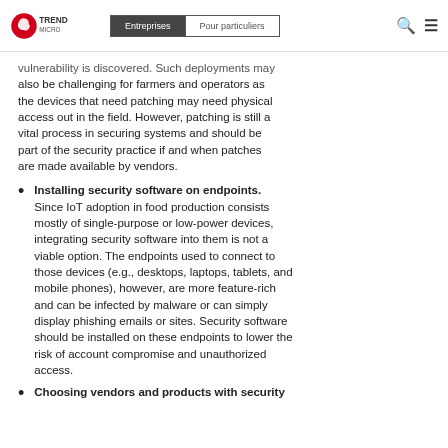Trend Micro | Entreprises | Pour particuliers
vulnerability is discovered. Such deployments may also be challenging for farmers and operators as the devices that need patching may need physical access out in the field. However, patching is still a vital process in securing systems and should be part of the security practice if and when patches are made available by vendors.
Installing security software on endpoints. Since IoT adoption in food production consists mostly of single-purpose or low-power devices, integrating security software into them is not a viable option. The endpoints used to connect to those devices (e.g., desktops, laptops, tablets, and mobile phones), however, are more feature-rich and can be infected by malware or can simply display phishing emails or sites. Security software should be installed on these endpoints to lower the risk of account compromise and unauthorized access.
Choosing vendors and products with security